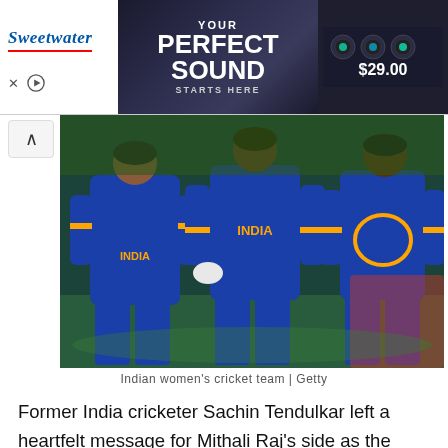[Figure (other): Sweetwater advertisement banner: 'YOUR PERFECT SOUND STARTS HERE' with $29.00 price tag and audio equipment imagery]
[Figure (photo): Indian women's cricket team players standing in blue and orange uniforms with 'INDIA' written on jerseys]
Indian women's cricket team | Getty
Former India cricketer Sachin Tendulkar left a heartfelt message for Mithali Raj's side as the Women in Blue failed to advance to the semi-finals of the ICC Women's World Cup 2022.